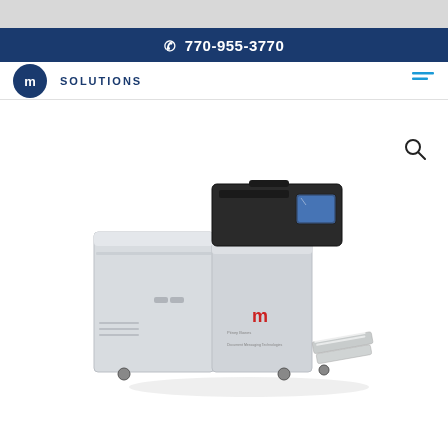770-955-3770
[Figure (logo): Circular blue logo with 'MIS SOLUTIONS' text]
[Figure (photo): Industrial inserter/mailing machine with dark top module featuring a control screen, gray body with paper output tray on right side, and red 'm' logo branding on front panel.]